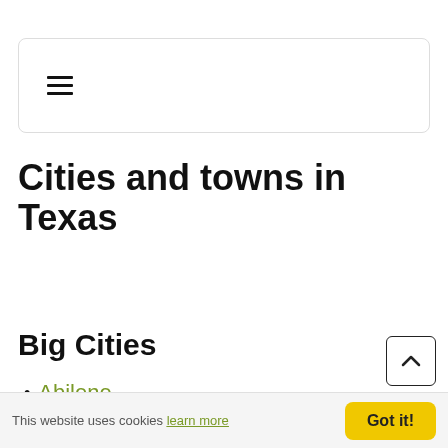[Figure (screenshot): Navigation bar with hamburger menu icon (three horizontal lines), rounded rectangle border]
Cities and towns in Texas
Big Cities
Abilene
Allen
[Figure (other): Back-to-top button with upward chevron arrow icon, bordered square]
This website uses cookies learn more   Got it!